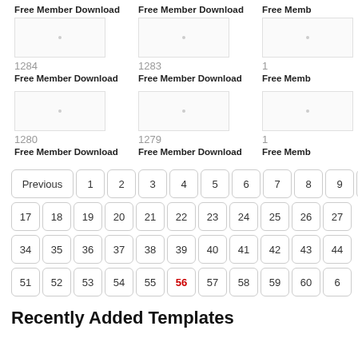Free Member Download
Free Member Download
Free Memb
1284
Free Member Download
1283
Free Member Download
1
Free Memb
1280
Free Member Download
1279
Free Member Download
1
Free Memb
Previous 1 2 3 4 5 6 7 8 9 10
17 18 19 20 21 22 23 24 25 26 27
34 35 36 37 38 39 40 41 42 43 44
51 52 53 54 55 56 57 58 59 60 6
Recently Added Templates